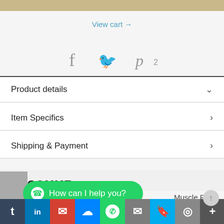[Figure (screenshot): Tan/gold colored top bar strip]
View cart →
[Figure (infographic): Social share icons: Facebook (f), Twitter (bird), Pinterest (P) with count 2]
Product details
Item Specifics
Shipping & Payment
RECOMME...A...
[Figure (screenshot): WhatsApp 'How can I help you?' button overlay and social share icons bar at bottom]
Muscle Relax
OFF